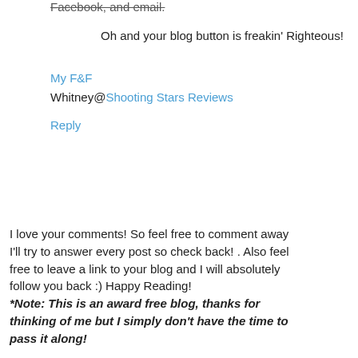Facebook, and email.
Oh and your blog button is freakin' Righteous!
My F&F
Whitney@Shooting Stars Reviews
Reply
I love your comments! So feel free to comment away I'll try to answer every post so check back! . Also feel free to leave a link to your blog and I will absolutely follow you back :) Happy Reading! *Note: This is an award free blog, thanks for thinking of me but I simply don't have the time to pass it along!